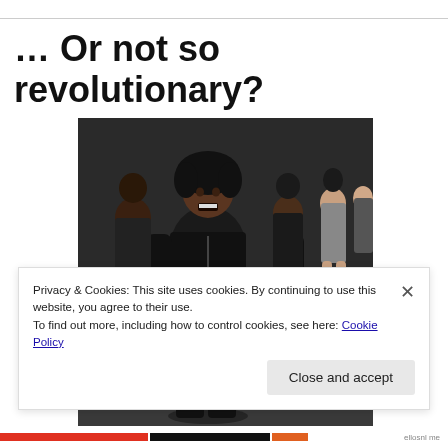… Or not so revolutionary?
[Figure (photo): Fashion runway show with models wearing black leather outfits walking in a line, with a prominent model in the foreground in a black leather jacket and shorts]
Privacy & Cookies: This site uses cookies. By continuing to use this website, you agree to their use.
To find out more, including how to control cookies, see here: Cookie Policy
Close and accept